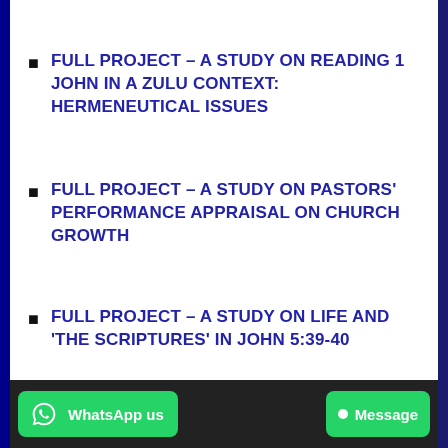FULL PROJECT – A STUDY ON READING 1 JOHN IN A ZULU CONTEXT: HERMENEUTICAL ISSUES
FULL PROJECT – A STUDY ON PASTORS' PERFORMANCE APPRAISAL ON CHURCH GROWTH
FULL PROJECT – A STUDY ON LIFE AND 'THE SCRIPTURES' IN JOHN 5:39-40